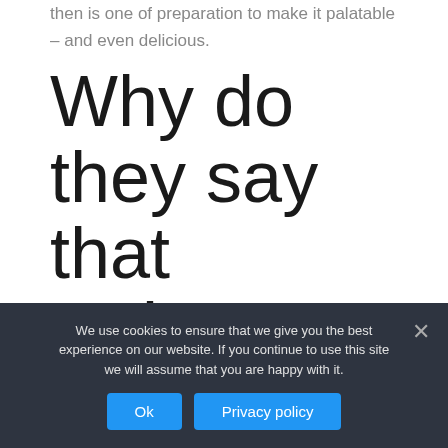then is one of preparation to make it palatable – and even delicious.
Why do they say that wolves changed the rivers?
We use cookies to ensure that we give you the best experience on our website. If you continue to use this site we will assume that you are happy with it.